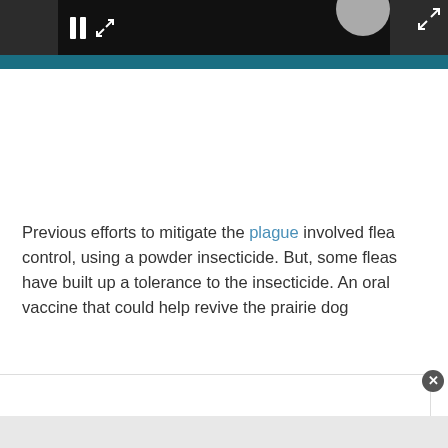[Figure (screenshot): Video player interface showing a dark player bar with pause icon and gray circular avatar/thumbnail. A teal divider bar sits below the player. Large white space below represents the video content area.]
Previous efforts to mitigate the plague involved flea control, using a powder insecticide. But, some fleas have built up a tolerance to the insecticide. An oral vaccine that could help revive the prairie dog